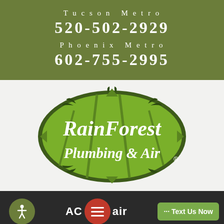Tucson Metro
520-502-2929
Phoenix Metro
602-755-2995
[Figure (logo): RainForest Plumbing & Air logo — a green leaf/oval shape with bamboo segment design and white text reading 'RainForest Plumbing & Air' with a registered trademark symbol]
[Figure (screenshot): Website footer bar with dark background showing accessibility icon button (green circle with person), AC Repair text with red hamburger menu button, and green 'Text Us Now' button]